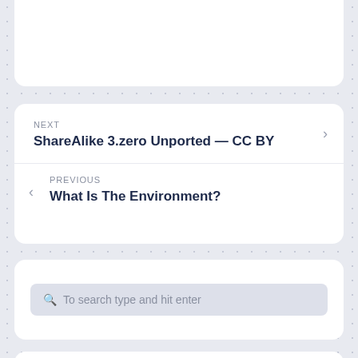NEXT
ShareAlike 3.zero Unported — CC BY
PREVIOUS
What Is The Environment?
To search type and hit enter
Archives